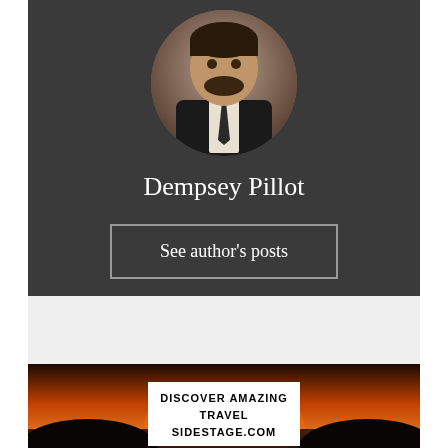[Figure (photo): Circular profile photo of Dempsey Pillot, a man in a dark suit with white shirt and tie, shown from the chest up against an event backdrop.]
Dempsey Pillot
See author's posts
[Figure (infographic): Advertisement banner showing a sunset over ocean rocks with text: DISCOVER AMAZING TRAVEL SIDESTAGE.COM]